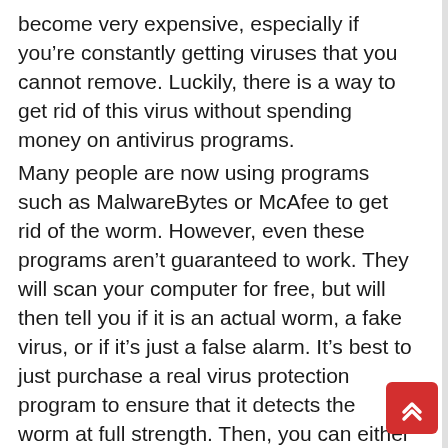become very expensive, especially if you’re constantly getting viruses that you cannot remove. Luckily, there is a way to get rid of this virus without spending money on antivirus programs.
Many people are now using programs such as MalwareBytes or McAfee to get rid of the worm. However, even these programs aren’t guaranteed to work. They will scan your computer for free, but will then tell you if it is an actual worm, a fake virus, or if it’s just a false alarm. It’s best to just purchase a real virus protection program to ensure that it detects the worm at full strength. Then, you can either delete the worm yourself or take the steps necessary to stop the spam from coming back.